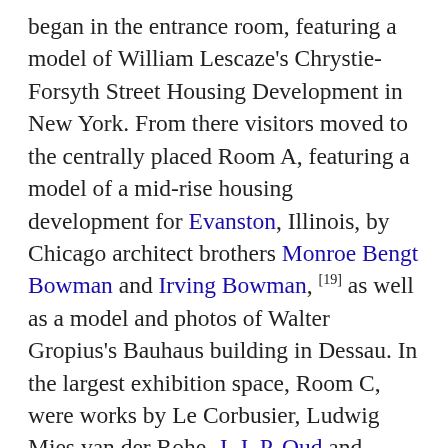began in the entrance room, featuring a model of William Lescaze's Chrystie-Forsyth Street Housing Development in New York. From there visitors moved to the centrally placed Room A, featuring a model of a mid-rise housing development for Evanston, Illinois, by Chicago architect brothers Monroe Bengt Bowman and Irving Bowman, [19] as well as a model and photos of Walter Gropius's Bauhaus building in Dessau. In the largest exhibition space, Room C, were works by Le Corbusier, Ludwig Mies van der Rohe, J. J. P. Oud and Frank Lloyd Wright (including a project for a house on the Mesa in Denver, 1932). Room B was a section titled "Housing", presenting "the need for a new domestic environment" as it had been identified by historian and critic Lewis Mumford. In Room D were works by Raymond Hood (including "Apartment Tower in the Country" and the McGraw-Hill Building) and Richard Neutra. In Room E was a section titled